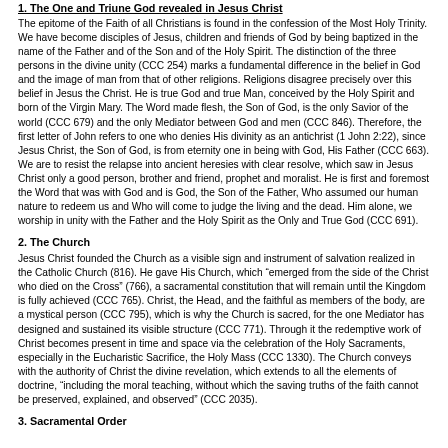1. The One and Triune God revealed in Jesus Christ
The epitome of the Faith of all Christians is found in the confession of the Most Holy Trinity. We have become disciples of Jesus, children and friends of God by being baptized in the name of the Father and of the Son and of the Holy Spirit. The distinction of the three persons in the divine unity (CCC 254) marks a fundamental difference in the belief in God and the image of man from that of other religions. Religions disagree precisely over this belief in Jesus the Christ. He is true God and true Man, conceived by the Holy Spirit and born of the Virgin Mary. The Word made flesh, the Son of God, is the only Savior of the world (CCC 679) and the only Mediator between God and men (CCC 846). Therefore, the first letter of John refers to one who denies His divinity as an antichrist (1 John 2:22), since Jesus Christ, the Son of God, is from eternity one in being with God, His Father (CCC 663). We are to resist the relapse into ancient heresies with clear resolve, which saw in Jesus Christ only a good person, brother and friend, prophet and moralist. He is first and foremost the Word that was with God and is God, the Son of the Father, Who assumed our human nature to redeem us and Who will come to judge the living and the dead. Him alone, we worship in unity with the Father and the Holy Spirit as the Only and True God (CCC 691).
2. The Church
Jesus Christ founded the Church as a visible sign and instrument of salvation realized in the Catholic Church (816). He gave His Church, which “emerged from the side of the Christ who died on the Cross” (766), a sacramental constitution that will remain until the Kingdom is fully achieved (CCC 765). Christ, the Head, and the faithful as members of the body, are a mystical person (CCC 795), which is why the Church is sacred, for the one Mediator has designed and sustained its visible structure (CCC 771). Through it the redemptive work of Christ becomes present in time and space via the celebration of the Holy Sacraments, especially in the Eucharistic Sacrifice, the Holy Mass (CCC 1330). The Church conveys with the authority of Christ the divine revelation, which extends to all the elements of doctrine, “including the moral teaching, without which the saving truths of the faith cannot be preserved, explained, and observed” (CCC 2035).
3. Sacramental Order